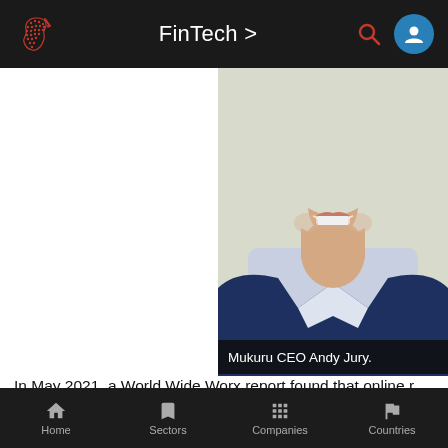FinTech >
[Figure (photo): Photo of Mukuru CEO Andy Jury, a man in a blue suit jacket and light shirt, smiling, cropped from nose downward.]
Mukuru CEO Andy Jury.
In May 2021, a World Wide Worx report found that online r... valuing the sector then at more than R30-billion.
Mukuru customers now have access to this shifting retail... Card as one would add a debit card for online payments. "
Home  Sectors  Companies  Countries